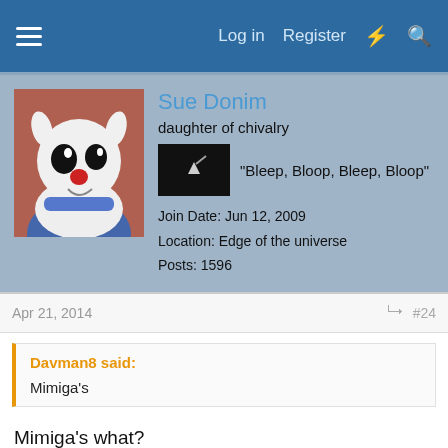Log in  Register
[Figure (photo): User avatar: animated character with white fur, black eyes, red nose, blue scarf on brown background]
Sue Donim
daughter of chivalry
[Figure (screenshot): Small dark video/image thumbnail with white sparkle/star graphic]
"Bleep, Bloop, Bleep, Bloop"
Join Date: Jun 12, 2009
Location: Edge of the universe
Posts: 1596
Apr 21, 2014
#24
Davman8 said:
Mimiga's
Mimiga's what?
Apr 21, 2014 at 6:41 AM
[Figure (photo): User avatar: anime-style character with yellow and black coloring]
andwhyisit
Administrator